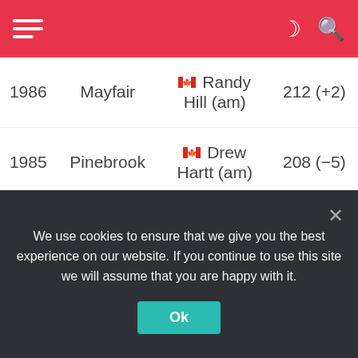Navigation header with hamburger menu, moon icon, and search icon
| Year | Course | Winner | Score |
| --- | --- | --- | --- |
| 1986 | Mayfair | 🇨🇦 Randy Hill (am) | 212 (+2) |
| 1985 | Pinebrook | 🇨🇦 Drew Hartt (am) | 208 (−5) |
| 1984 | Highlands | 🇨🇦 Kelly Murray | 213 (E) |
| 1983 | Elks Club | 🇨🇦 Norman Gray (am) | 213 (E) [lower-alpha 8] |
We use cookies to ensure that we give you the best experience on our website. If you continue to use this site we will assume that you are happy with it.